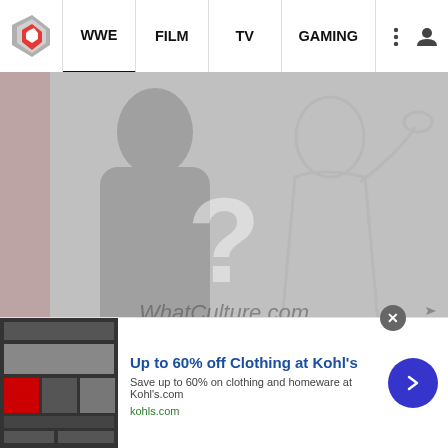WWE  FILM  TV  GAMING
[Figure (illustration): WhatCulture.com placeholder hero image with silhouette of a person and a large question mark watermark on a grey background]
Former WWE Intercontinental Champion Teases In-Ring Return
[Figure (screenshot): Advertisement: Up to 60% off Clothing at Kohl's - Save up to 60% on clothing and homeware at Kohl's.com - kohls.com]